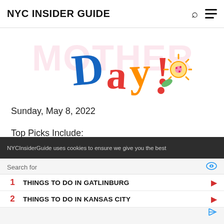NYC INSIDER GUIDE
[Figure (illustration): Colorful hand-drawn text reading 'Day!' with decorative elements including a sun/flower, rendered in blue, red, orange, yellow, and green colors]
Sunday, May 8, 2022
Top Picks Include:
Around Manhattan Mother's Day Brunch Cruise
NYCInsiderGuide uses cookies to ensure we give you the best
Search for
1  THINGS TO DO IN GATLINBURG
2  THINGS TO DO IN KANSAS CITY